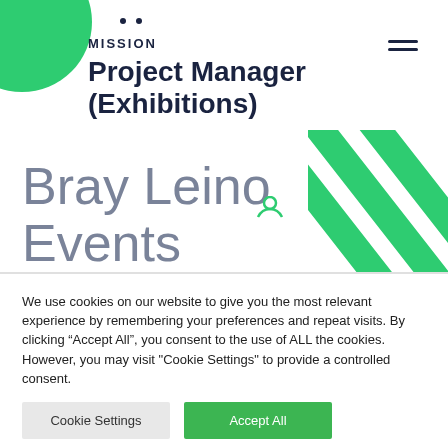[Figure (logo): Mission logo with green circle and MISSION text, hamburger menu icon, decorative dots, person icon, green diagonal stripes]
Project Manager (Exhibitions)
Bray Leino Events
We use cookies on our website to give you the most relevant experience by remembering your preferences and repeat visits. By clicking “Accept All”, you consent to the use of ALL the cookies. However, you may visit "Cookie Settings" to provide a controlled consent.
Cookie Settings
Accept All